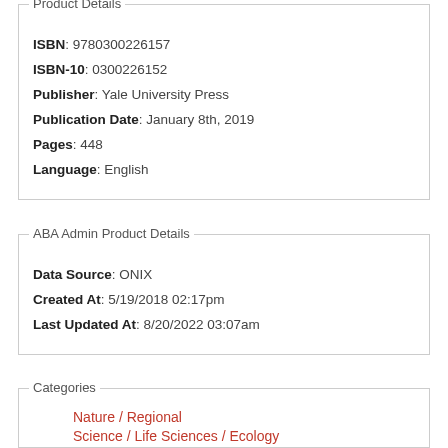Product Details
ISBN: 9780300226157
ISBN-10: 0300226152
Publisher: Yale University Press
Publication Date: January 8th, 2019
Pages: 448
Language: English
ABA Admin Product Details
Data Source: ONIX
Created At: 5/19/2018 02:17pm
Last Updated At: 8/20/2022 03:07am
Categories
Nature / Regional
Science / Life Sciences / Ecology
Science / Environmental Science